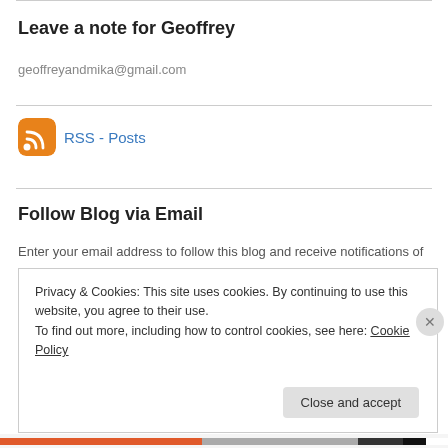Leave a note for Geoffrey
geoffreyandmika@gmail.com
[Figure (infographic): RSS feed icon (orange rounded square with white WiFi-signal arcs) next to a link labeled RSS - Posts]
Follow Blog via Email
Enter your email address to follow this blog and receive notifications of
Privacy & Cookies: This site uses cookies. By continuing to use this website, you agree to their use.
To find out more, including how to control cookies, see here: Cookie Policy
Close and accept